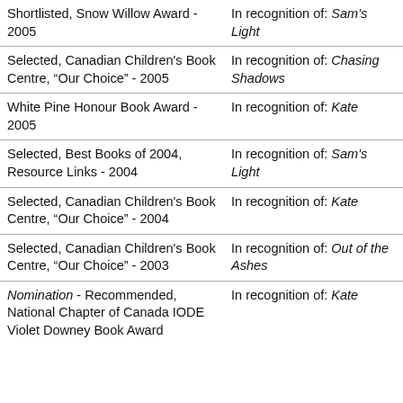| Award | Recognition |
| --- | --- |
| Shortlisted, Snow Willow Award - 2005 | In recognition of: Sam's Light |
| Selected, Canadian Children's Book Centre, “Our Choice” - 2005 | In recognition of: Chasing Shadows |
| White Pine Honour Book Award - 2005 | In recognition of: Kate |
| Selected, Best Books of 2004, Resource Links - 2004 | In recognition of: Sam's Light |
| Selected, Canadian Children's Book Centre, “Our Choice” - 2004 | In recognition of: Kate |
| Selected, Canadian Children's Book Centre, “Our Choice” - 2003 | In recognition of: Out of the Ashes |
| Nomination - Recommended, National Chapter of Canada IODE Violet Downey Book Award | In recognition of: Kate |